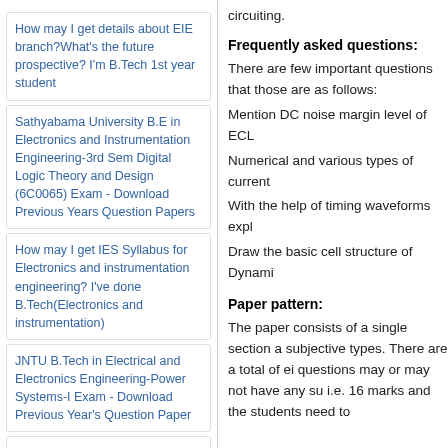How may I get details about EIE branch?What's the future prospective? I'm B.Tech 1st year student
Sathyabama University B.E in Electronics and Instrumentation Engineering-3rd Sem Digital Logic Theory and Design (6C0065) Exam - Download Previous Years Question Papers
How may I get IES Syllabus for Electronics and instrumentation engineering? I've done B.Tech(Electronics and instrumentation)
JNTU B.Tech in Electrical and Electronics Engineering-Power Systems-I Exam - Download Previous Year's Question Paper
Syllabus for M.E ECE TANCET conducted by Anna University?
JNTU B.Tech in Electronics and Communication Engineering-Computer Organization Exam - Download Previous Years Question Papers
circuiting.
Frequently asked questions:
There are few important questions that those are as follows:
Mention DC noise margin level of ECL
Numerical and various types of current
With the help of timing waveforms expl
Draw the basic cell structure of Dynami
Paper pattern:
The paper consists of a single section a subjective types. There are a total of ei questions may or may not have any su i.e. 16 marks and the students need to